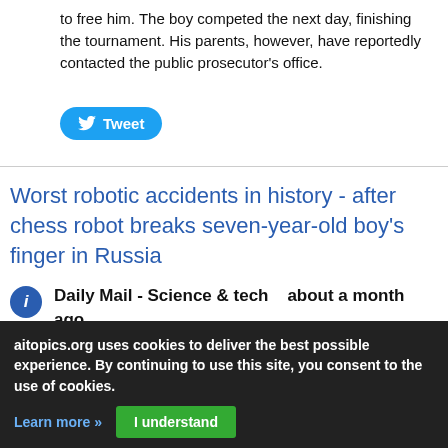to free him. The boy competed the next day, finishing the tournament. His parents, however, have reportedly contacted the public prosecutor's office.
[Figure (other): Tweet button (Twitter/X share button in blue pill shape)]
Worst robotic accidents in history - after chess robot breaks seven-year-old boy's finger in Russia
Daily Mail - Science & tech    about a month ago
Shocking footage emerged at the weekend of a chess-playing robot breaking a child's finger during a match in Russia. The robot grabbed the
[Figure (photo): Thumbnail image placeholder (grey rectangle)]
aitopics.org uses cookies to deliver the best possible experience. By continuing to use this site, you consent to the use of cookies.